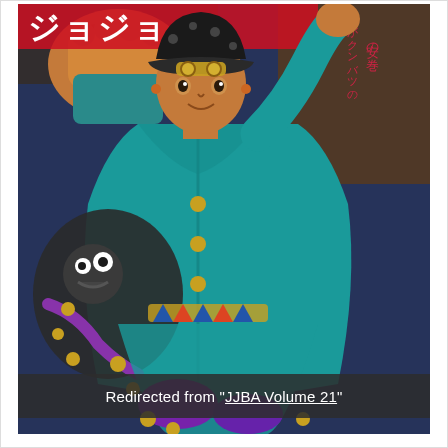[Figure (illustration): Manga volume cover of JoJo's Bizarre Adventure featuring a character in a teal/blue outfit and cap with a fist raised, alongside another creature-like figure. Japanese text visible at top. Colorful manga art style.]
Redirected from "JJBA Volume 21"